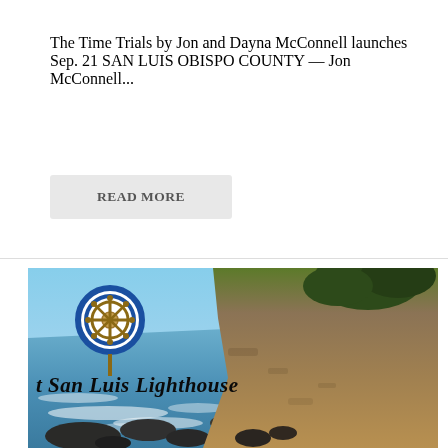The Time Trials by Jon and Dayna McConnell launches Sep. 21 SAN LUIS OBISPO COUNTY — Jon McConnell...
READ MORE
[Figure (photo): Coastal scene showing Port San Luis Lighthouse area. Features a ship wheel logo (Port San Luis Harbor District) in the upper left, text reading 't San Luis Lighthouse' overlaid on the image, rocky coastline with crashing waves on the left, and a steep cliff face covered in brown/tan earth with dark green trees at the top right.]